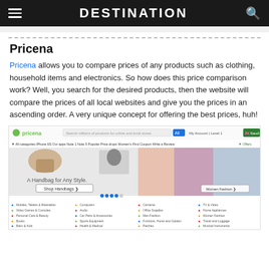DESTINATION
Pricena
Pricena allows you to compare prices of any products such as clothing, household items and electronics. So how does this price comparison work? Well, you search for the desired products, then the website will compare the prices of all local websites and give you the prices in an ascending order. A very unique concept for offering the best prices, huh!
[Figure (screenshot): Screenshot of the Pricena website homepage showing the pricena logo, search bar, navigation menu, a handbag promotion banner, Women Fashion section, and product category links including Mobiles, Video Games, Personal Care, Books, Baby & Kids, Computers, Audio, Car Parts, Sports Equipment, Health & Medical, Cameras, Office Supplies, Men Fashion, Furniture, Patches, TV & Video, Home Appliances, Women Fashion, Travel and Luggage, Musical Instruments]